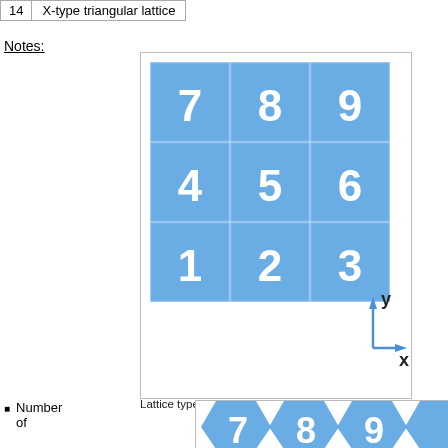| 14 | X-type triangular lattice |
| --- | --- |
Notes:
[Figure (illustration): 3x3 grid of blue cells numbered 1-9 (bottom-left to top-right row by row), with an x-y coordinate axis in the bottom right corner outside the grid.]
Lattice type 1 indexing example for N_X = N_Y = 3.
Number of
[Figure (illustration): Partial view of hexagonal lattice cells numbered 7, 8, 9 visible at bottom of cropped figure box.]